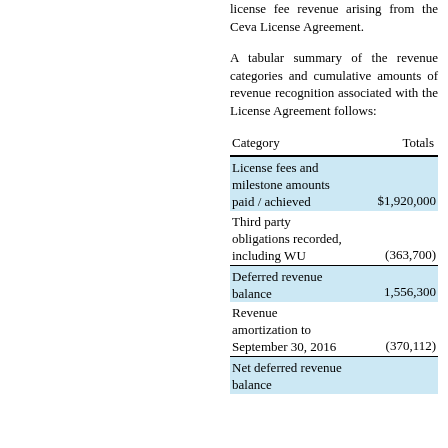license fee revenue arising from the Ceva License Agreement.
A tabular summary of the revenue categories and cumulative amounts of revenue recognition associated with the License Agreement follows:
| Category | Totals |
| --- | --- |
| License fees and milestone amounts paid / achieved | $1,920,000 |
| Third party obligations recorded, including WU | (363,700) |
| Deferred revenue balance | 1,556,300 |
| Revenue amortization to September 30, 2016 | (370,112) |
| Net deferred revenue balance |  |